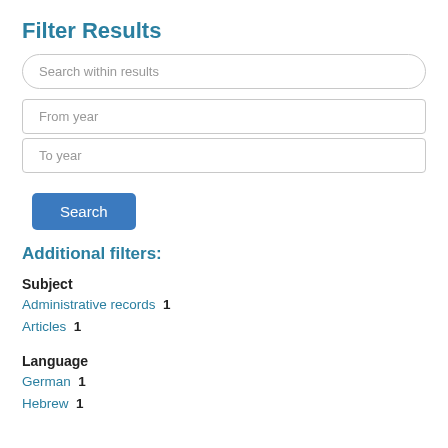Filter Results
Search within results
From year
To year
Search
Additional filters:
Subject
Administrative records  1
Articles  1
Language
German  1
Hebrew  1